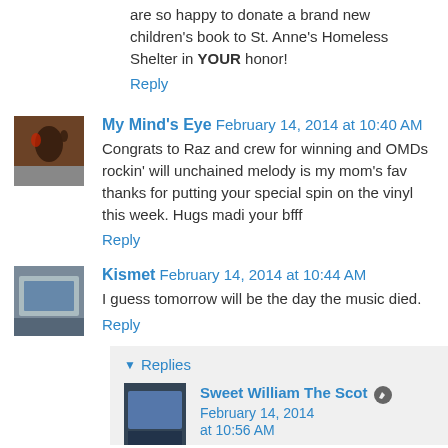are so happy to donate a brand new children's book to St. Anne's Homeless Shelter in YOUR honor!
Reply
My Mind's Eye  February 14, 2014 at 10:40 AM
Congrats to Raz and crew for winning and OMDs rockin' will unchained melody is my mom's fav thanks for putting your special spin on the vinyl this week. Hugs madi your bfff
Reply
Kismet  February 14, 2014 at 10:44 AM
I guess tomorrow will be the day the music died.
Reply
Replies
Sweet William The Scot  February 14, 2014 at 10:56 AM